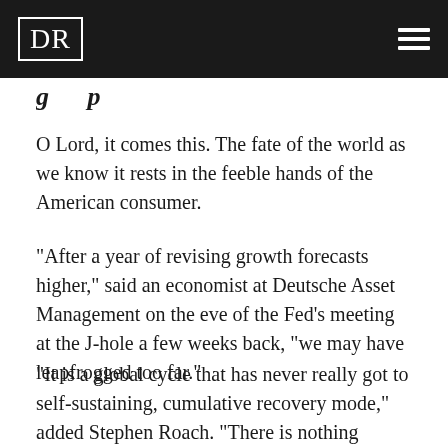DR
…g…p…
O Lord, it comes this. The fate of the world as we know it rests in the feeble hands of the American consumer.
"After a year of revising growth forecasts higher," said an economist at Deutsche Asset Management on the eve of the Fed’s meeting at the J-hole a few weeks back, "we may have leapfrogged too far."
"It is a global cycle that has never really got to self-sustaining, cumulative recovery mode," added Stephen Roach. "There is nothing mature about [the recovery] except the imbalances. How strong will the recovery be when the stimulus steroids wear off?"